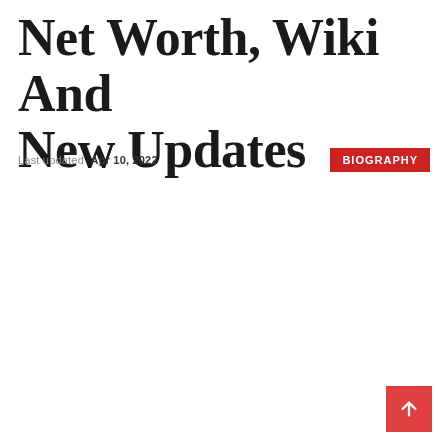Net Worth, Wiki And New Updates
Last updated  Apr 10, 2022
BIOGRAPHY